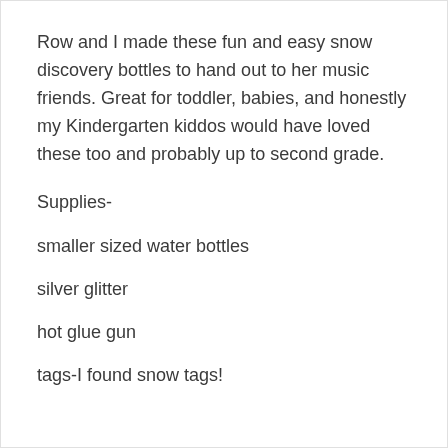Row and I made these fun and easy snow discovery bottles to hand out to her music friends. Great for toddler, babies, and honestly my Kindergarten kiddos would have loved these too and probably up to second grade.
Supplies-
smaller sized water bottles
silver glitter
hot glue gun
tags-I found snow tags!